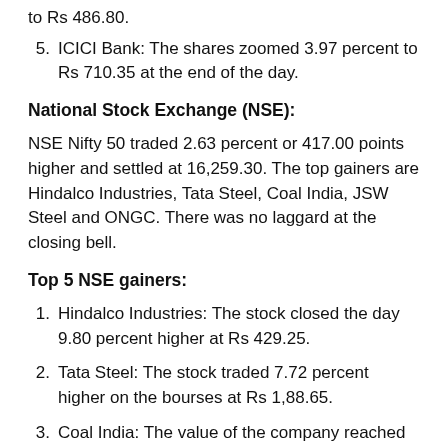5. ICICI Bank: The shares zoomed 3.97 percent to Rs 710.35 at the end of the day.
National Stock Exchange (NSE):
NSE Nifty 50 traded 2.63 percent or 417.00 points higher and settled at 16,259.30. The top gainers are Hindalco Industries, Tata Steel, Coal India, JSW Steel and ONGC. There was no laggard at the closing bell.
Top 5 NSE gainers:
1. Hindalco Industries: The stock closed the day 9.80 percent higher at Rs 429.25.
2. Tata Steel: The stock traded 7.72 percent higher on the bourses at Rs 1,88.65.
3. Coal India: The value of the company reached Rs 184.80, up by 7.63 percent.